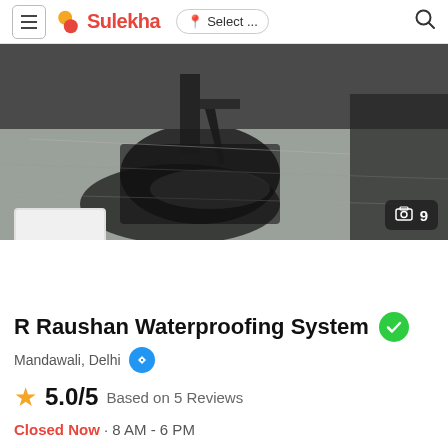Sulekha | Select ... [location] [search]
[Figure (photo): Hero image showing waterproofing work being applied on a surface with tools]
R Raushan Waterproofing System
Mandawali, Delhi
5.0/5 Based on 5 Reviews
Closed Now · 8 AM - 6 PM
Claim this Business Listing